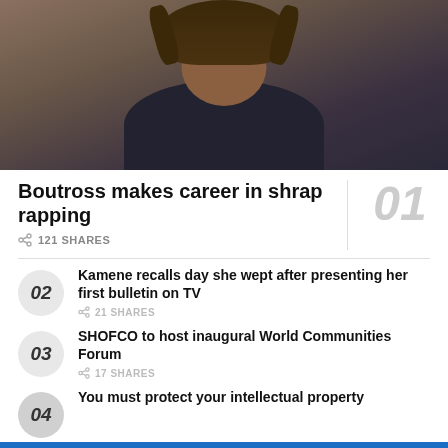[Figure (photo): Person with dreadlocks wearing a dark t-shirt, photographed in front of a brick wall background]
Boutross makes career in shrap rapping
121 SHARES
02 Kamene recalls day she wept after presenting her first bulletin on TV — 21 SHARES
03 SHOFCO to host inaugural World Communities Forum — 17 SHARES
04 You must protect your intellectual property